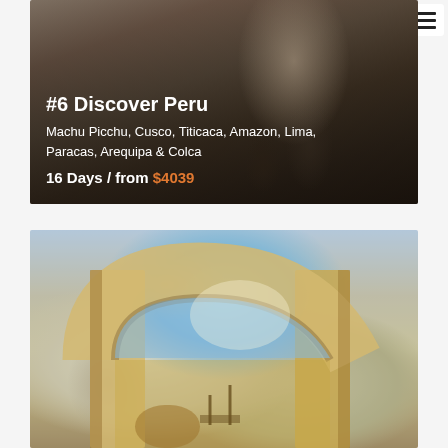[Figure (photo): Photo of a person in traditional dark clothing standing next to a llama on a cobblestone street in Peru, with overlaid text showing tour details]
#6 Discover Peru
Machu Picchu, Cusco, Titicaca, Amazon, Lima, Paracas, Arequipa & Colca
16 Days / from $4039
[Figure (photo): Photo of a stone archway/colonnade in Arequipa Peru, showing colonial architecture with arches framing a courtyard with blue sky visible]